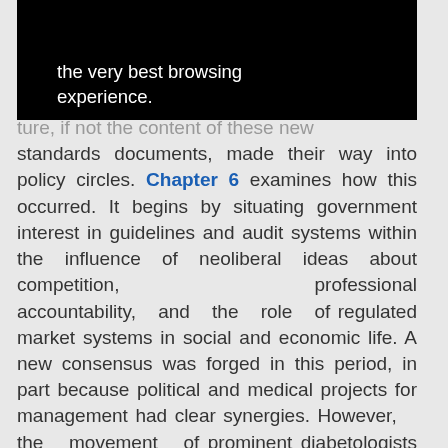[Figure (screenshot): Black popup/overlay box with white text reading: 'information that help give you the very best browsing experience.']
ture, if not the content of these new standards documents, made their way into policy circles. Chapter 6 examines how this occurred. It begins by situating government interest in guidelines and audit systems within the influence of neoliberal ideas about competition, professional accountability, and the role of regulated market systems in social and economic life. A new consensus was forged in this period, in part because political and medical projects for management had clear synergies. However, the movement of prominent diabetologists and experts across policy fora to forge such conceptual and practical connections was also critical. Personnel continuities across different levels of